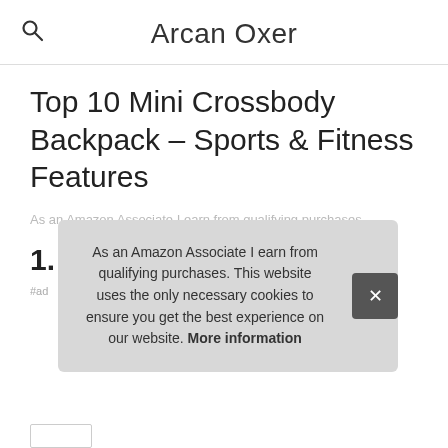Arcan Oxer
Top 10 Mini Crossbody Backpack – Sports & Fitness Features
As an Amazon Associate I earn from qualifying purchases.
1. adidas
#ad
As an Amazon Associate I earn from qualifying purchases. This website uses the only necessary cookies to ensure you get the best experience on our website. More information